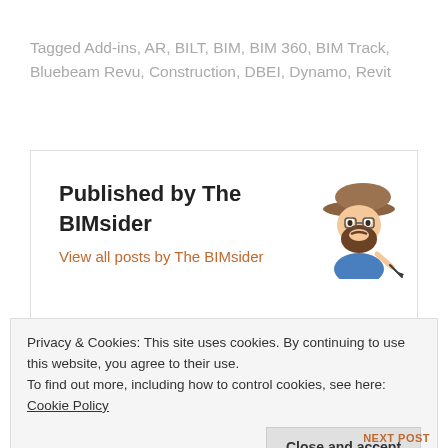Tagged Add-ins, AR, BILT, BIM, BIM 360, BIM Track, Bluebeam Revu, Construction, DBEI, Dynamo, Revit
Published by The BIMsider
View all posts by The BIMsider
[Figure (illustration): Cartoon avatar of a man with a beard wearing a blue shirt and brown cap, holding a pen]
Privacy & Cookies: This site uses cookies. By continuing to use this website, you agree to their use.
To find out more, including how to control cookies, see here: Cookie Policy
Close and accept
NEXT POST